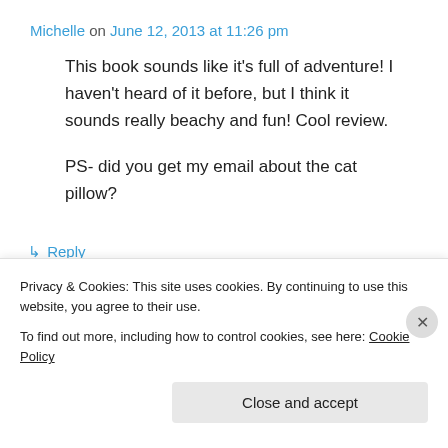Michelle on June 12, 2013 at 11:26 pm
This book sounds like it's full of adventure! I haven't heard of it before, but I think it sounds really beachy and fun! Cool review.

PS- did you get my email about the cat pillow?
↳ Reply
Alice in Readerland on June 12, 2013 at 11:48
Privacy & Cookies: This site uses cookies. By continuing to use this website, you agree to their use.
To find out more, including how to control cookies, see here: Cookie Policy
Close and accept